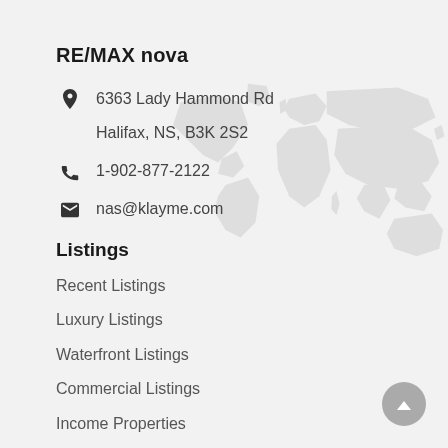RE/MAX nova
6363 Lady Hammond Rd
Halifax, NS, B3K 2S2
1-902-877-2122
nas@klayme.com
Listings
Recent Listings
Luxury Listings
Waterfront Listings
Commercial Listings
Income Properties
[Figure (illustration): Light gray world map silhouette in background]